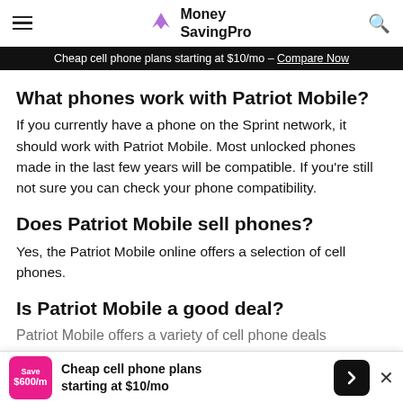Money SavingPro
Cheap cell phone plans starting at $10/mo - Compare Now
What phones work with Patriot Mobile?
If you currently have a phone on the Sprint network, it should work with Patriot Mobile. Most unlocked phones made in the last few years will be compatible. If you're still not sure you can check your phone compatibility.
Does Patriot Mobile sell phones?
Yes, the Patriot Mobile online offers a selection of cell phones.
Is Patriot Mobile a good deal?
Patriot Mobile offers a variety of cell phone deals
Cheap cell phone plans starting at $10/mo